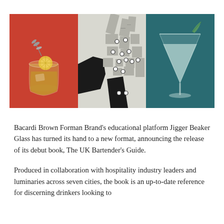[Figure (photo): Three panel image strip: left panel shows a cocktail glass with lemon slice on a red background, center panel shows a street map with location markers on grey/black background, right panel shows a martini glass with garnish on a teal background.]
Bacardi Brown Forman Brand's educational platform Jigger Beaker Glass has turned its hand to a new format, announcing the release of its debut book, The UK Bartender's Guide.
Produced in collaboration with hospitality industry leaders and luminaries across seven cities, the book is an up-to-date reference for discerning drinkers looking to